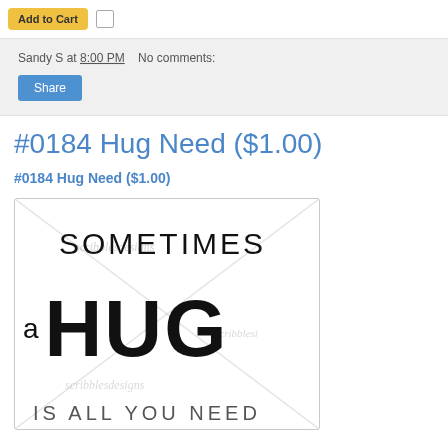[Figure (screenshot): Add to Cart button (yellow) with a small checkbox to the right]
Sandy S at 8:00 PM   No comments:
Share
#0184 Hug Need ($1.00)
#0184 Hug Need ($1.00)
[Figure (illustration): Product image showing decorative text art: 'SOMETIMES a HUG IS ALL YOU NEED' with diagonal watermark lines reading 'scribblesdesigns']